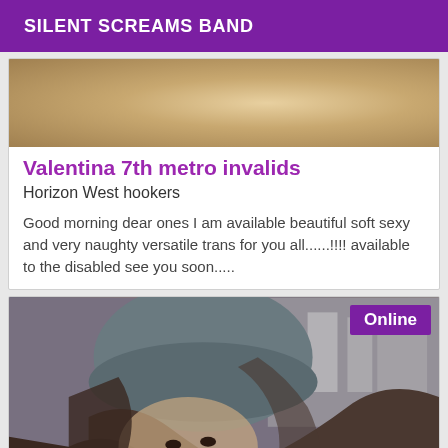SILENT SCREAMS BAND
[Figure (photo): Top portion of a person with blonde hair, partially visible, outdoor setting]
Valentina 7th metro invalids
Horizon West hookers
Good morning dear ones I am available beautiful soft sexy and very naughty versatile trans for you all......!!!! available to the disabled see you soon.....
[Figure (photo): Person wearing a grey beanie hat with brown hair, face partially visible, with an Online badge in the top right corner]